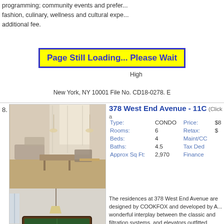programming; community events and preferences in fashion, culinary, wellness and cultural experiences for an additional fee.
Page Still Loading... Please Wait
New York, NY 10001 File No. CD18-0278. E... elated... High...
378 West End Avenue - 11C (Click a...)
| Field | Value | Field2 | Value2 |
| --- | --- | --- | --- |
| Type: | CONDO | Price: | $8... |
| Rooms: | 6 | Retax: | $... |
| Beds: | 4 | Maint/CC: | ... |
| Baths: | 4.5 | Tax Ded: | ... |
| Approx Sq Ft: | 2,970 | Finance: | ... |
[Figure (photo): Interior photo of luxury apartment living room and dining area at 378 West End Avenue]
View Floorplan
The residences at 378 West End Avenue are designed by COOKFOX and developed by A... wonderful interplay between the classic and... filtration systems, and elevators outfitted with...
With over 11,000 square feet of amenities in... additional fee), private garden, music record... movie room, reading room and lounge with p... residence.
The complete terms are in an offering plan a...
180 East 88th Street - 28B (Click add...)
[Figure (photo): Exterior or interior photo of 180 East 88th Street apartment]